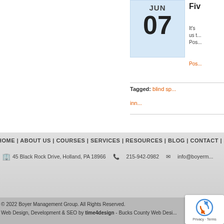[Figure (other): Calendar widget showing JUN 07 with blue background]
Fiv
It's ... us t... Pos...
Pos...
Tagged: blind sp... inn...
HOME | ABOUT US | COURSES | SERVICES | RESOURCES | BLOG | CONTACT | SITEM...
45 Black Rock Drive, Holland, PA 18966   215-942-0982   info@boyerm...
© 2022 Boyer Management Group. All Rights Reserved.
Web Design, Development & SEO by time4design - Bucks County Web Desi...